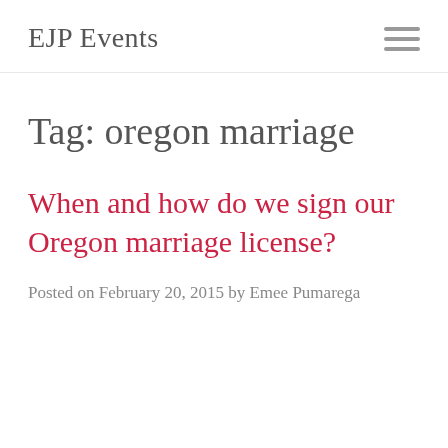EJP Events
Tag: oregon marriage
When and how do we sign our Oregon marriage license?
Posted on February 20, 2015 by Emee Pumarega